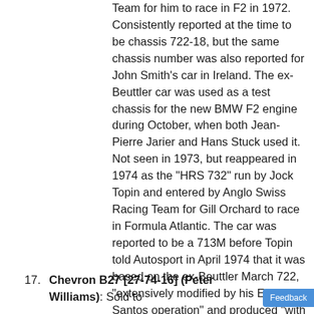Team for him to race in F2 in 1972. Consistently reported at the time to be chassis 722-18, but the same chassis number was also reported for John Smith's car in Ireland. The ex-Beuttler car was used as a test chassis for the new BMW F2 engine during October, when both Jean-Pierre Jarier and Hans Stuck used it. Not seen in 1973, but reappeared in 1974 as the "HRS 732" run by Jock Topin and entered by Anglo Swiss Racing Team for Gill Orchard to race in Formula Atlantic. The car was reported to be a 713M before Topin told Autosport in April 1974 that it was based on the ex-Beuttler March 722, "extensively modified by his Ecurie Santos operation" and produced "with blessing from March". Subsequent history unknown.
17.  Chevron B27 [27-74-16] (Peter Williams): Sold to